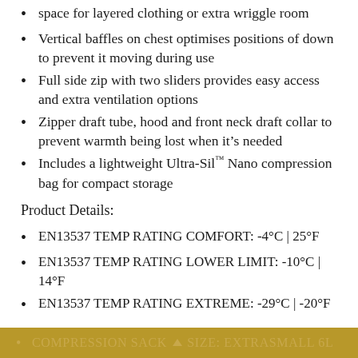space for layered clothing or extra wriggle room
Vertical baffles on chest optimises positions of down to prevent it moving during use
Full side zip with two sliders provides easy access and extra ventilation options
Zipper draft tube, hood and front neck draft collar to prevent warmth being lost when it’s needed
Includes a lightweight Ultra-Sil™ Nano compression bag for compact storage
Product Details:
EN13537 TEMP RATING COMFORT: -4°C | 25°F
EN13537 TEMP RATING LOWER LIMIT: -10°C | 14°F
EN13537 TEMP RATING EXTREME: -29°C | -20°F
COMPRESSION SACK SIZE: EXTRASMALL 6L